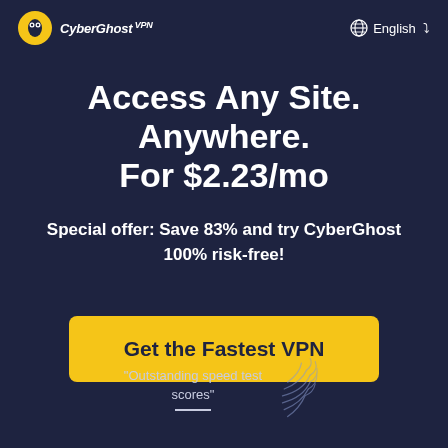CyberGhost VPN | English
Access Any Site. Anywhere. For $2.23/mo
Special offer: Save 83% and try CyberGhost 100% risk-free!
Get the Fastest VPN
"Outstanding speed test scores"